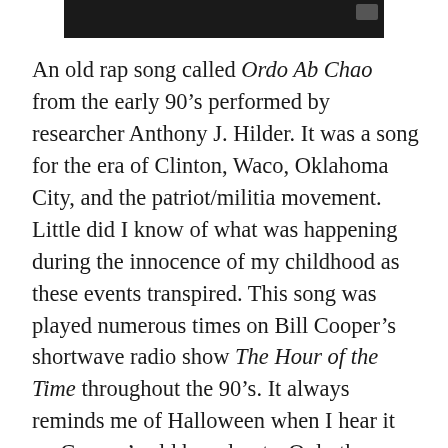[Figure (photo): Dark image bar at the top of the page, appearing to be a cropped photograph with a dark/black background and a small grey rectangle in the upper right area.]
An old rap song called Ordo Ab Chao from the early 90’s performed by researcher Anthony J. Hilder. It was a song for the era of Clinton, Waco, Oklahoma City, and the patriot/militia movement. Little did I know of what was happening during the innocence of my childhood as these events transpired. This song was played numerous times on Bill Cooper’s shortwave radio show The Hour of the Time throughout the 90’s. It always reminds me of Halloween when I hear it on Cooper’s old broadcasts. Only the nightmare described in the music doesn’t happen only one night of the year. All these years later, they are still hard at their Great Work pushing Pike’s Masonic